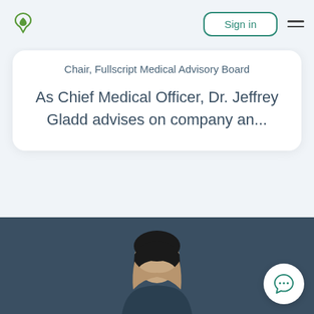[Figure (logo): Fullscript leaf heart logo in green]
Sign in
Chair, Fullscript Medical Advisory Board
As Chief Medical Officer, Dr. Jeffrey Gladd advises on company an...
[Figure (photo): Portrait photo of a person with dark hair against dark blue background]
[Figure (other): Chat bubble icon with three dots in teal/green color on white circle button]